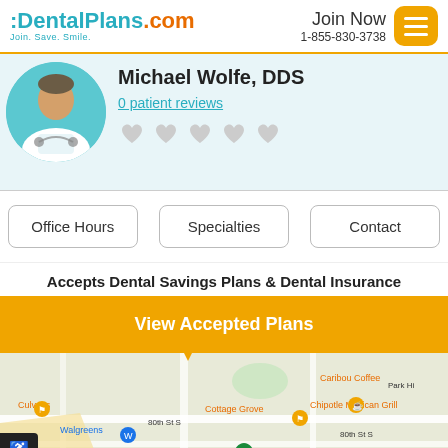DentalPlans.com — Join. Save. Smile. | Join Now 1-855-830-3738
Michael Wolfe, DDS
0 patient reviews
Accepts Dental Savings Plans & Dental Insurance
View Accepted Plans
[Figure (map): Google Maps view showing area with Cottage Grove, Caribou Coffee, Park Hi, Culver's, Chipotle Mexican Grill, 80th St S, Walgreens, Planet Fitness, Hemingway Ave S, Hornell Ave S]